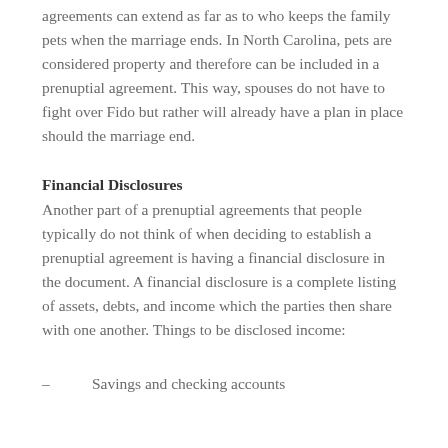agreements can extend as far as to who keeps the family pets when the marriage ends. In North Carolina, pets are considered property and therefore can be included in a prenuptial agreement. This way, spouses do not have to fight over Fido but rather will already have a plan in place should the marriage end.
Financial Disclosures
Another part of a prenuptial agreements that people typically do not think of when deciding to establish a prenuptial agreement is having a financial disclosure in the document. A financial disclosure is a complete listing of assets, debts, and income which the parties then share with one another. Things to be disclosed income:
– Savings and checking accounts